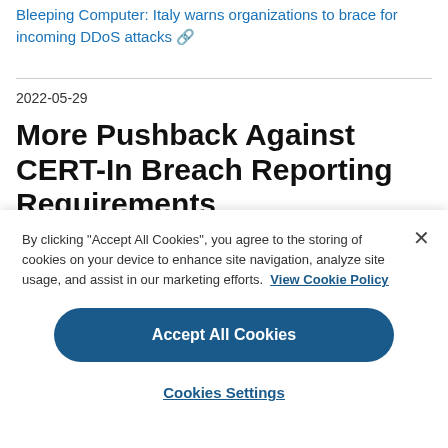Bleeping Computer: Italy warns organizations to brace for incoming DDoS attacks 🔗
2022-05-29
More Pushback Against CERT-In Breach Reporting Requirements
By clicking "Accept All Cookies", you agree to the storing of cookies on your device to enhance site navigation, analyze site usage, and assist in our marketing efforts. View Cookie Policy
Accept All Cookies
Cookies Settings